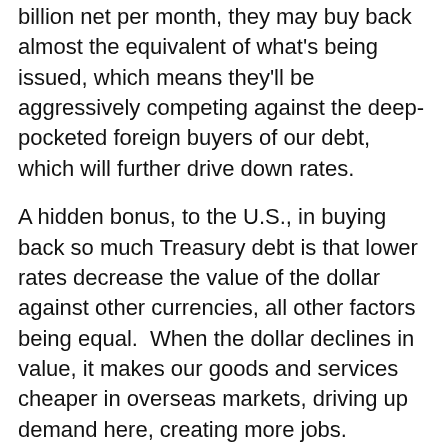billion net per month, they may buy back almost the equivalent of what's being issued, which means they'll be aggressively competing against the deep-pocketed foreign buyers of our debt, which will further drive down rates.
A hidden bonus, to the U.S., in buying back so much Treasury debt is that lower rates decrease the value of the dollar against other currencies, all other factors being equal.  When the dollar declines in value, it makes our goods and services cheaper in overseas markets, driving up demand here, creating more jobs.  However, it doesn't look so good for the U.S. to overtly try to lower the value of the dollar because it's the “reserve currency of the world”–most financial transactions still take place in dollars, not yen or euros.  It's a bit unseemly for the